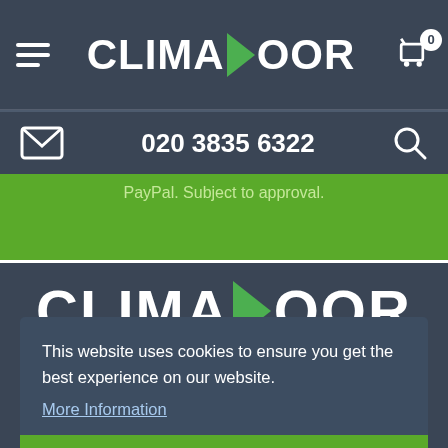CLIMADOOR — top navigation bar with hamburger menu, logo, and cart (0 items)
020 3835 6322
PayPal. Subject to approval.
[Figure (logo): CLIMADOOR logo in large white text with green arrow replacing the D, on dark background]
This website uses cookies to ensure you get the best experience on our website. More Information
Accept & Close